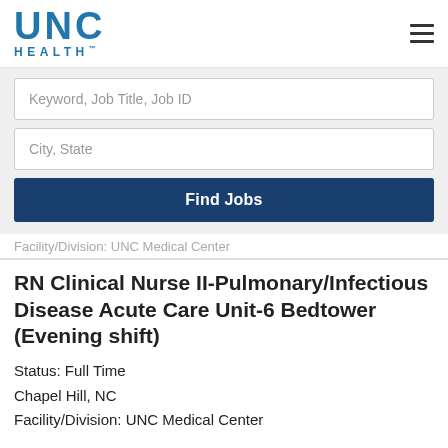[Figure (logo): UNC Health logo in blue]
Keyword, Job Title, Job ID
City, State
Find Jobs
Facility/Division: UNC Medical Center
RN Clinical Nurse II-Pulmonary/Infectious Disease Acute Care Unit-6 Bedtower (Evening shift)
Status: Full Time
Chapel Hill, NC
Facility/Division: UNC Medical Center